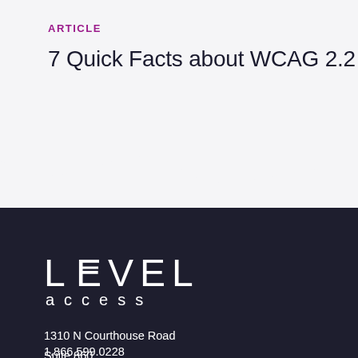ARTICLE
7 Quick Facts about WCAG 2.2
[Figure (illustration): Wave shape divider separating white top section from dark navy bottom section, and Level Access logo with company name]
1310 N Courthouse Road
Suite 860
Arlington, VA 22201
Directions ↗
1.866.599.0228